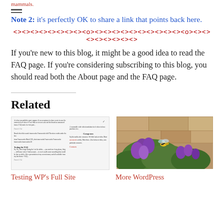mammals.
Note 2: it's perfectly OK to share a link that points back here.
<><><><><><><><><o><><><><><><><><><><><o><><><><><><><><>
If you're new to this blog, it might be a good idea to read the FAQ page. If you're considering subscribing to this blog, you should read both the About page and the FAQ page.
Related
[Figure (screenshot): Screenshot of a blog page showing Testing the FAQ post and related sidebar content]
[Figure (photo): Photo of purple flowers with a bee, against a stone wall background]
Testing WP's Full Site
More WordPress